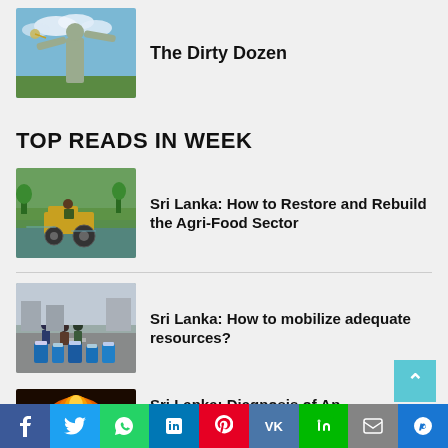[Figure (photo): Statue with raised arms against blue sky]
The Dirty Dozen
TOP READS IN WEEK
[Figure (photo): Tractor in flooded agricultural field, Sri Lanka]
Sri Lanka: How to Restore and Rebuild the Agri-Food Sector
[Figure (photo): People collecting water with blue containers, Sri Lanka]
Sri Lanka: How to mobilize adequate resources?
[Figure (photo): Orange flame/fire image]
Sri Lanka: Diagnosis of An Economic Disaster